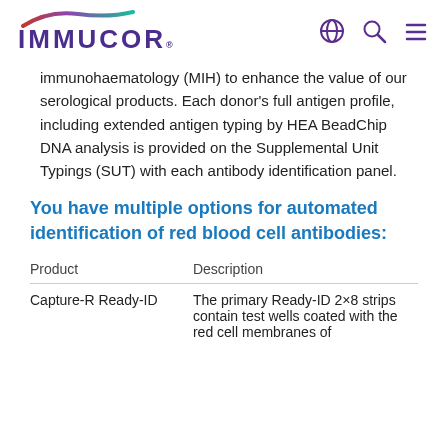IMMUCOR
immunohaematology (MIH) to enhance the value of our serological products. Each donor's full antigen profile, including extended antigen typing by HEA BeadChip DNA analysis is provided on the Supplemental Unit Typings (SUT) with each antibody identification panel.
You have multiple options for automated identification of red blood cell antibodies:
| Product | Description |
| --- | --- |
| Capture-R Ready-ID | The primary Ready-ID 2×8 strips contain test wells coated with the red cell membranes of |